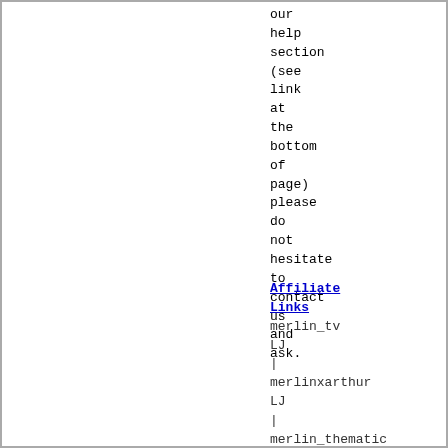our
help
section
(see
link
at
the
bottom
of
page)
please
do
not
hesitate
to
contact
us
and
ask.
Affiliate Links
merlin_tv LJ
|
merlinxarthur LJ
|
merlin_thematic LJ
|
bradleycolin LJ
|
merlinrpf LJ
|
merlinfia